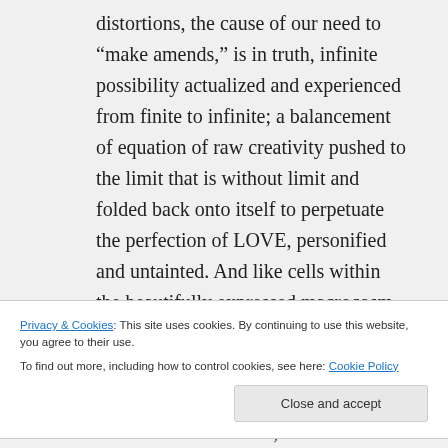distortions, the cause of our need to “make amends,” is in truth, infinite possibility actualized and experienced from finite to infinite; a balancement of equation of raw creativity pushed to the limit that is without limit and folded back onto itself to perpetuate the perfection of LOVE, personified and untainted. And like cells within the beautifully expressed macrocosm of the Divine, we serve to illuminate the expression of this grand design. We are the
Privacy & Cookies: This site uses cookies. By continuing to use this website, you agree to their use.
To find out more, including how to control cookies, see here: Cookie Policy
intention. I'M SORRY, PLEASE FORGIVE